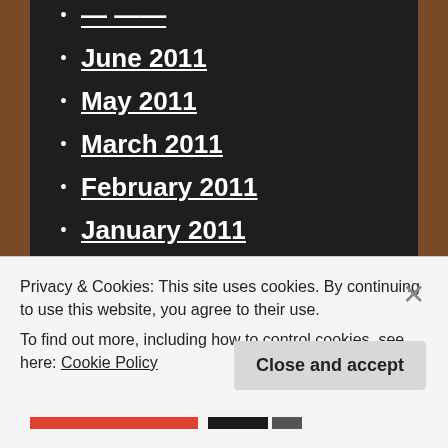June 2011
May 2011
March 2011
February 2011
January 2011
December 2010
October 2010
September 2010
June 2010
April 2010
March 2010
Privacy & Cookies: This site uses cookies. By continuing to use this website, you agree to their use.
To find out more, including how to control cookies, see here: Cookie Policy